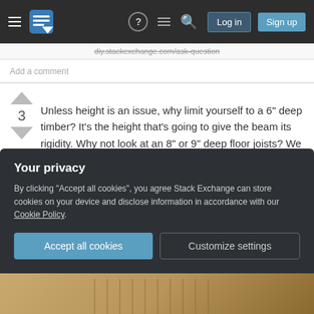Stack Exchange navigation bar with Log in and Sign up buttons
diy.stackexchange.com/ask-question
Add a comment
Unless height is an issue, why limit yourself to a 6" deep timber? It's the height that's going to give the beam its rigidity. Why not look at an 8" or 9" deep floor joists? We use 9" x 2" and even 9" x 3" floor joists all the time.
Although, the last bridge we made (over a stream to a rough old fishing pond so aesthetics wasn't an
Your privacy
By clicking "Accept all cookies", you agree Stack Exchange can store cookies on your device and disclose information in accordance with our Cookie Policy.
Accept all cookies
Customize settings